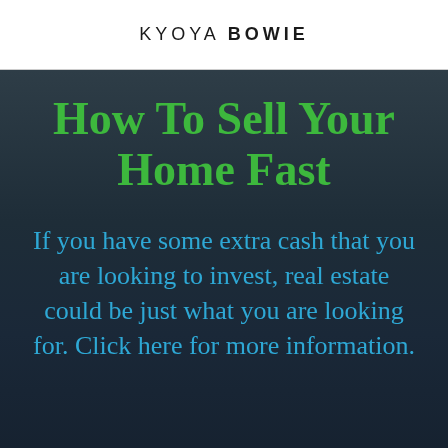KYOYA BOWIE
How To Sell Your Home Fast
If you have some extra cash that you are looking to invest, real estate could be just what you are looking for. Click here for more information.